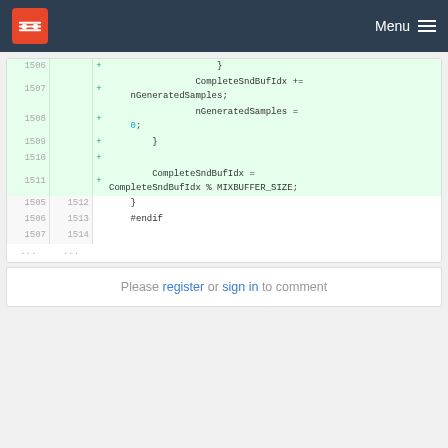Menu
[Figure (screenshot): Code diff view showing lines 1506-1514 with added lines (green background) containing code: CompleteSndBufIdx += nGeneratedSamples; nGeneratedSamples = 0; closing brace; CompleteSndBufIdx = CompleteSndBufIdx % MIXBUFFER_SIZE; followed by normal lines with } and #endif]
Please register or sign in to comment